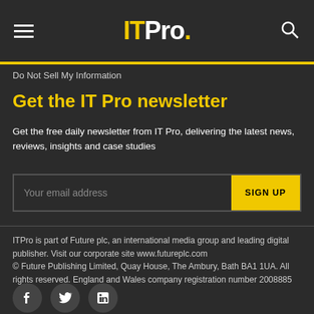ITPro.
Do Not Sell My Information
Get the IT Pro newsletter
Get the free daily newsletter from IT Pro, delivering the latest news, reviews, insights and case studies
Your email address | SIGN UP
ITPro is part of Future plc, an international media group and leading digital publisher. Visit our corporate site www.futureplc.com
© Future Publishing Limited, Quay House, The Ambury, Bath BA1 1UA. All rights reserved. England and Wales company registration number 2008885